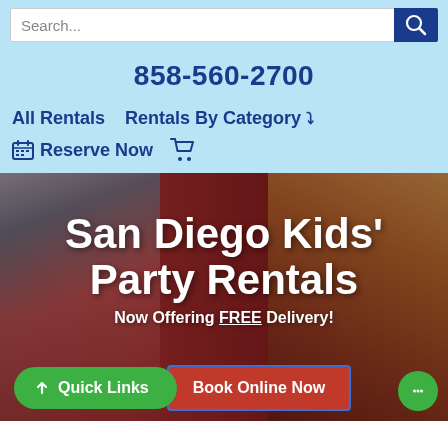Search...
858-560-2700
All Rentals   Rentals By Category ▾
Reserve Now
San Diego Kids' Party Rentals
Now Offering FREE Delivery!
Quick Links
Book Online Now